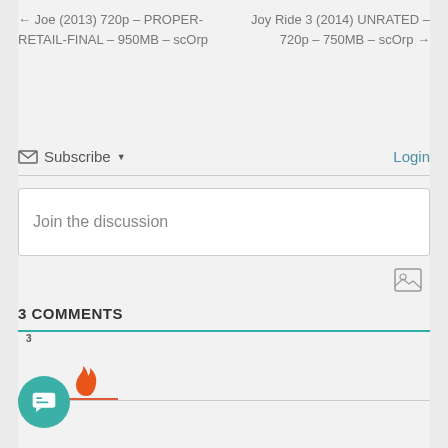← Joe (2013) 720p – PROPER-RETAIL-FINAL – 950MB – scOrp
Joy Ride 3 (2014) UNRATED – 720p – 750MB – scOrp →
✉ Subscribe ▾
Login
Join the discussion
3 COMMENTS